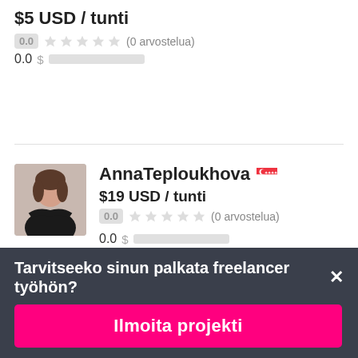$5 USD / tunti
0.0 ★★★★★ (0 arvostelua)
0.0 $ ██████████
AnnaTeploukhova
$19 USD / tunti
0.0 ★★★★★ (0 arvostelua)
0.0 $ ██████████
Tarvitseeko sinun palkata freelancer työhön?✕
Ilmoita projekti